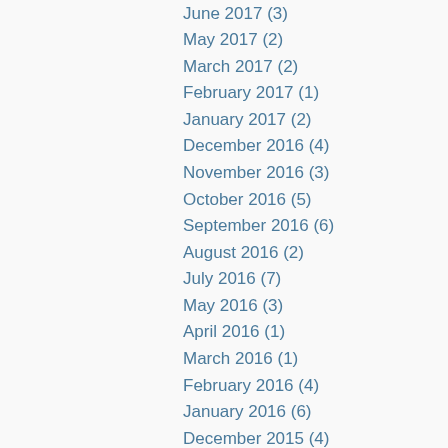June 2017 (3)
May 2017 (2)
March 2017 (2)
February 2017 (1)
January 2017 (2)
December 2016 (4)
November 2016 (3)
October 2016 (5)
September 2016 (6)
August 2016 (2)
July 2016 (7)
May 2016 (3)
April 2016 (1)
March 2016 (1)
February 2016 (4)
January 2016 (6)
December 2015 (4)
November 2015 (7)
October 2015 (6)
September 2015 (3)
August 2015 (2)
July 2015 (5)